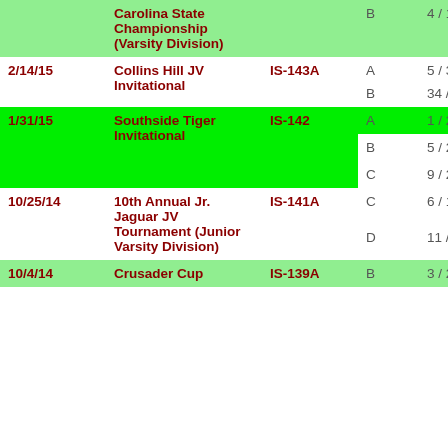| Date | Tournament | ID | Division | Place |
| --- | --- | --- | --- | --- |
|  | Carolina State Championship (Varsity Division) |  | B | 4 / 16 |
| 2/14/15 | Collins Hill JV Invitational | IS-143A | A | 5 / 39 |
|  |  |  | B | 34 / 39 |
| 1/31/15 | Southside Tiger Invitational | IS-142 | A | 1 / 20 |
|  |  |  | B | 5 / 20 |
|  |  |  | C | 9 / 20 |
| 10/25/14 | 10th Annual Jr. Jaguar JV Tournament (Junior Varsity Division) | IS-141A | C | 6 / 11 |
|  |  |  | D | 11 / 11 |
| 10/4/14 | Crusader Cup | IS-139A | B | 3 / 22 |